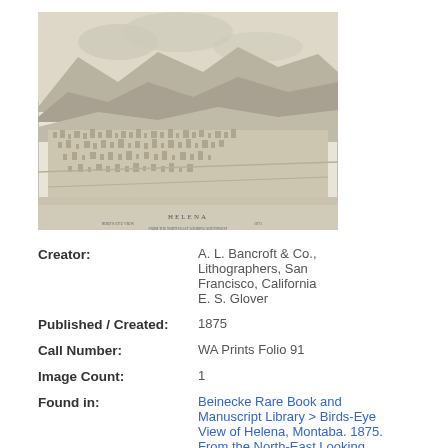[Figure (illustration): Bird's-eye view lithograph of Helena, Montana, 1875, showing the city from the north-east looking southwest, with mountains in the background. Sepia-toned print. Caption/title text at bottom of image reads 'HELENA' with additional small text.]
Creator: A. L. Bancroft & Co., Lithographers, San Francisco, California E. S. Glover
Published / Created: 1875
Call Number: WA Prints Folio 91
Image Count: 1
Found in: Beinecke Rare Book and Manuscript Library > Birds-Eye View of Helena, Montaba. 1875. From the North-East Looking Southwest